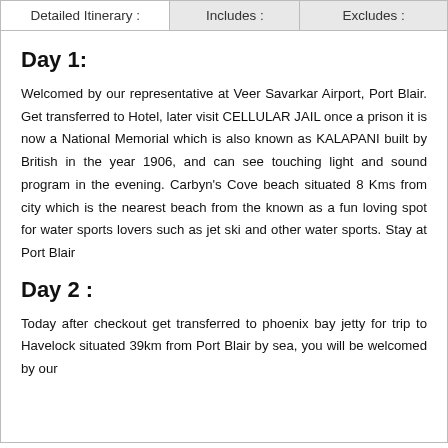Detailed Itinerary : | Includes : | Excludes :
Day 1:
Welcomed by our representative at Veer Savarkar Airport, Port Blair. Get transferred to Hotel, later visit CELLULAR JAIL once a prison it is now a National Memorial which is also known as KALAPANI built by British in the year 1906, and can see touching light and sound program in the evening. Carbyn's Cove beach situated 8 Kms from city which is the nearest beach from the known as a fun loving spot for water sports lovers such as jet ski and other water sports. Stay at Port Blair
Day 2 :
Today after checkout get transferred to phoenix bay jetty for trip to Havelock situated 39km from Port Blair by sea, you will be welcomed by our